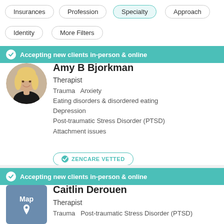Insurances
Profession
Specialty
Approach
Identity
More Filters
Accepting new clients in-person & online
Amy B Bjorkman
Therapist
Trauma  Anxiety
Eating disorders & disordered eating
Depression
Post-traumatic Stress Disorder (PTSD)
Attachment issues
ZENCARE VETTED
Accepting new clients in-person & online
Caitlin Derouen
Therapist
Trauma  Post-traumatic Stress Disorder (PTSD)